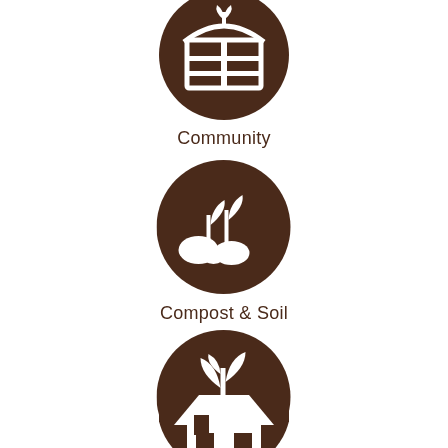[Figure (illustration): Dark brown circular icon with a white community/greenhouse building with plants symbol, labeled Community]
Community
[Figure (illustration): Dark brown circular icon with white seedling sprouting from soil/rocks symbol, labeled Compost & Soil]
Compost & Soil
[Figure (illustration): Dark brown circular icon with white hand holding plant with leaves symbol, labeled Growing Food]
Growing Food
[Figure (illustration): Dark brown circular icon partially visible at bottom, showing white house/roof symbol]